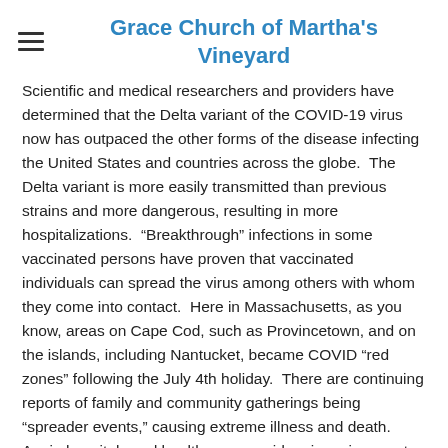Grace Church of Martha's Vineyard
Scientific and medical researchers and providers have determined that the Delta variant of the COVID-19 virus now has outpaced the other forms of the disease infecting the United States and countries across the globe.  The Delta variant is more easily transmitted than previous strains and more dangerous, resulting in more hospitalizations.  “Breakthrough” infections in some vaccinated persons have proven that vaccinated individuals can spread the virus among others with whom they come into contact.  Here in Massachusetts, as you know, areas on Cape Cod, such as Provincetown, and on the islands, including Nantucket, became COVID "red zones" following the July 4th holiday.  There are continuing reports of family and community gatherings being "spreader events," causing extreme illness and death.  Again hospitals and health care providers in various parts of the country are overwhelmed by the growing infection rate, and the Centers for Disease Control and Prevention is